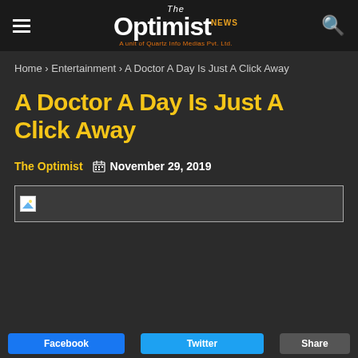The Optimist NEWS — A unit of Quartz Info Medias Pvt. Ltd.
Home › Entertainment › A Doctor A Day Is Just A Click Away
A Doctor A Day Is Just A Click Away
The Optimist   November 29, 2019
[Figure (photo): Article featured image placeholder (broken image)]